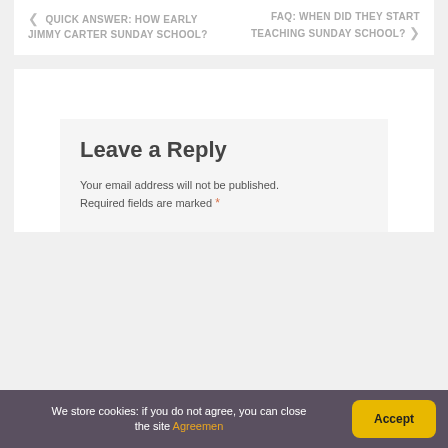< QUICK ANSWER: HOW EARLY JIMMY CARTER SUNDAY SCHOOL?    FAQ: WHEN DID THEY START TEACHING SUNDAY SCHOOL? >
Leave a Reply
Your email address will not be published. Required fields are marked *
We store cookies: if you do not agree, you can close the site Agreemen   Accept